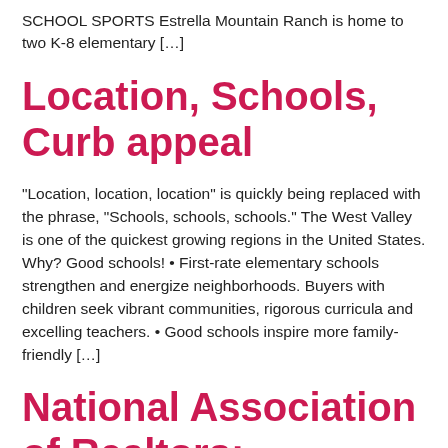SCHOOL SPORTS Estrella Mountain Ranch is home to two K-8 elementary […]
Location, Schools, Curb appeal
“Location, location, location” is quickly being replaced with the phrase, “Schools, schools, schools.” The West Valley is one of the quickest growing regions in the United States. Why? Good schools! • First-rate elementary schools strengthen and energize neighborhoods. Buyers with children seek vibrant communities, rigorous curricula and excelling teachers. • Good schools inspire more family-friendly […]
National Association of Realtors: Reduction in Housing Starts